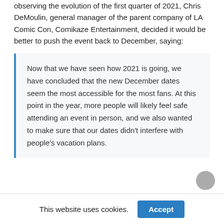observing the evolution of the first quarter of 2021, Chris DeMoulin, general manager of the parent company of LA Comic Con, Comikaze Entertainment, decided it would be better to push the event back to December, saying:
Now that we have seen how 2021 is going, we have concluded that the new December dates seem the most accessible for the most fans. At this point in the year, more people will likely feel safe attending an event in person, and we also wanted to make sure that our dates didn't interfere with people's vacation plans.
This website uses cookies.